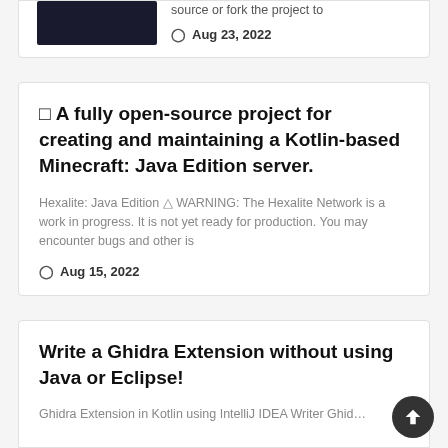[Figure (screenshot): Dark terminal/code screenshot thumbnail (partial, top of card cut off)]
source or fork the project to
Aug 23, 2022
🔲 A fully open-source project for creating and maintaining a Kotlin-based Minecraft: Java Edition server.
Hexalite: Java Edition ⚠ WARNING: The Hexalite Network is a work in progress. It is not yet ready for production. You may encounter bugs and other is
Aug 15, 2022
Write a Ghidra Extension without using Java or Eclipse!
Ghidra Extension in Kotlin using IntelliJ IDEA Writer Ghid…